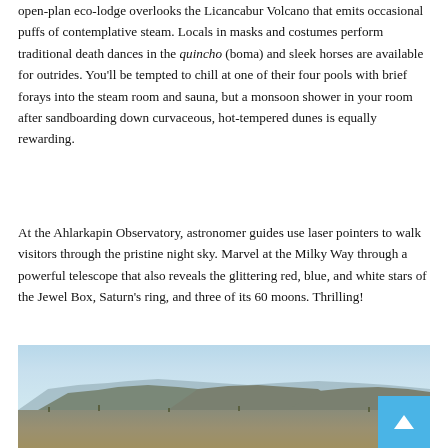open-plan eco-lodge overlooks the Licancabur Volcano that emits occasional puffs of contemplative steam. Locals in masks and costumes perform traditional death dances in the quincho (boma) and sleek horses are available for outrides. You'll be tempted to chill at one of their four pools with brief forays into the steam room and sauna, but a monsoon shower in your room after sandboarding down curvaceous, hot-tempered dunes is equally rewarding.
At the Ahlarkapin Observatory, astronomer guides use laser pointers to walk visitors through the pristine night sky. Marvel at the Milky Way through a powerful telescope that also reveals the glittering red, blue, and white stars of the Jewel Box, Saturn's ring, and three of its 60 moons. Thrilling!
[Figure (photo): Landscape photo showing a desert scene with rocky mesa formations, sparse dry vegetation in the foreground, and a pale blue sky in the background.]